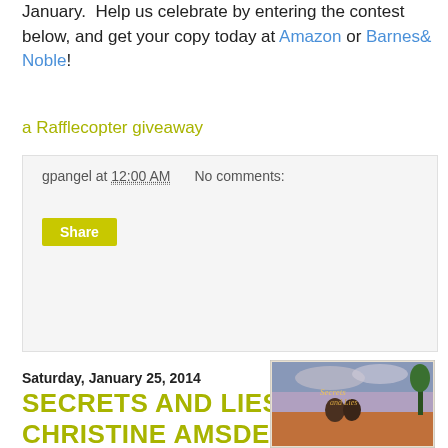January.  Help us celebrate by entering the contest below, and get your copy today at Amazon or Barnes& Noble!
a Rafflecopter giveaway
gpangel at 12:00 AM   No comments:
Share
Saturday, January 25, 2014
SECRETS AND LIES BY CHRISTINE AMSDEN
[Figure (illustration): Book cover for 'Secrets and Lies' by Christine Amsden showing two people close together with a dramatic sky background, with stylized script title text]